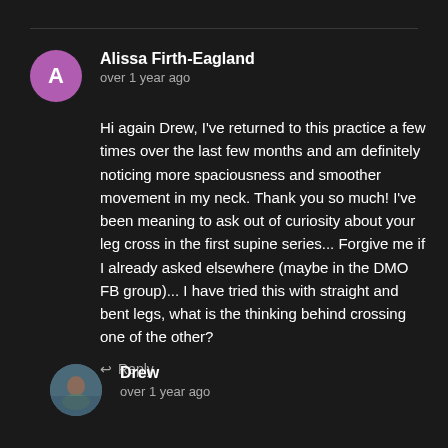Alissa Firth-Eagland
over 1 year ago
Hi again Drew, I've returned to this practice a few times over the last few months and am definitely noticing more spaciousness and smoother movement in my neck. Thank you so much! I've been meaning to ask out of curiosity about your leg cross in the first supine series... Forgive me if I already asked elsewhere (maybe in the DMO FB group)... I have tried this with straight and bent legs, what is the thinking behind crossing one of the other?
Reply
Drew
over 1 year ago